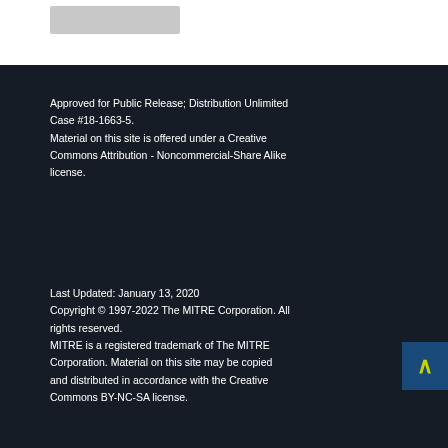Approved for Public Release; Distribution Unlimited Case #18-1663-5. Material on this site is offered under a Creative Commons Attribution - Noncommercial-Share Alike license.
Last Updated: January 13, 2020 Copyright © 1997-2022 The MITRE Corporation. All rights reserved. MITRE is a registered trademark of The MITRE Corporation. Material on this site may be copied and distributed in accordance with the Creative Commons BY-NC-SA license.